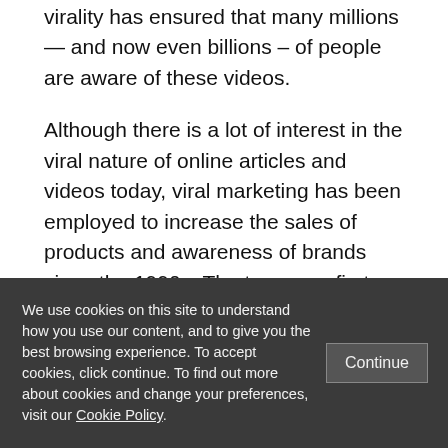virality has ensured that many millions — and now even billions – of people are aware of these videos.
Although there is a lot of interest in the viral nature of online articles and videos today, viral marketing has been employed to increase the sales of products and awareness of brands since the 1990s. The term was first coined by Steve Jurvetson in 1997, after he observed how the impressive
We use cookies on this site to understand how you use our content, and to give you the best browsing experience. To accept cookies, click continue. To find out more about cookies and change your preferences, visit our Cookie Policy.